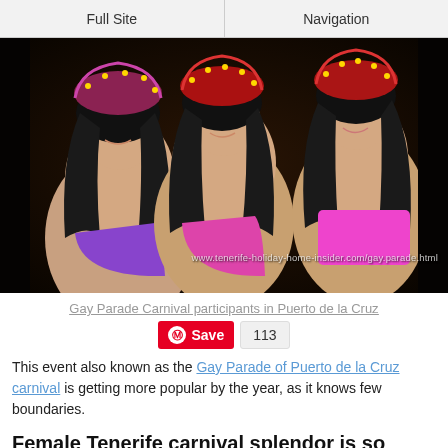Full Site | Navigation
[Figure (photo): Three carnival participants in colorful costumes and elaborate headdresses at Gay Parade Carnival in Puerto de la Cruz, with watermark text visible]
Gay Parade Carnival participants in Puerto de la Cruz
Save 113
This event also known as the Gay Parade of Puerto de la Cruz carnival is getting more popular by the year, as it knows few boundaries.
Female Tenerife carnival splendor is so attractive
The feminine carnival cult which involves